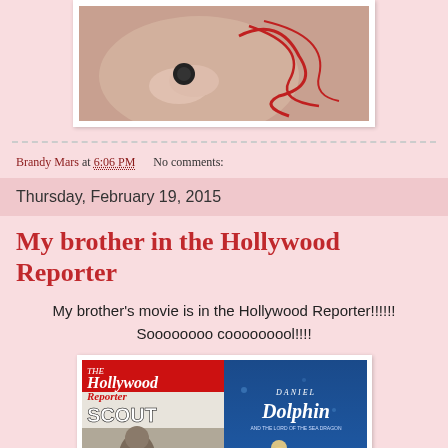[Figure (photo): Close-up photo of a hand with a dark ring, appearing to have red line designs on skin, displayed in a white-bordered frame]
Brandy Mars at 6:06 PM    No comments:
Thursday, February 19, 2015
My brother in the Hollywood Reporter
My brother's movie is in the Hollywood Reporter!!!!!! Soooooooo cooooooool!!!!
[Figure (photo): The Hollywood Reporter magazine cover showing Scout movie on left side and Daniel Dolphin animated movie on right side]